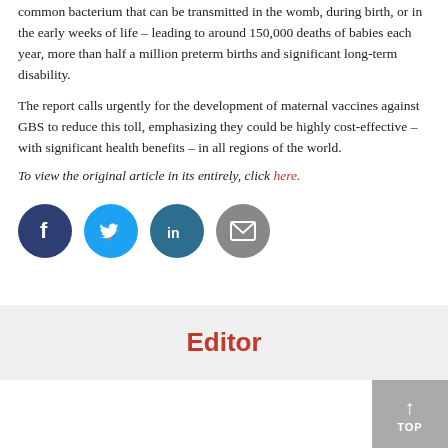common bacterium that can be transmitted in the womb, during birth, or in the early weeks of life – leading to around 150,000 deaths of babies each year, more than half a million preterm births and significant long-term disability.
The report calls urgently for the development of maternal vaccines against GBS to reduce this toll, emphasizing they could be highly cost-effective – with significant health benefits – in all regions of the world.
To view the original article in its entirely, click here.
[Figure (infographic): Social media sharing icons: Facebook (dark blue circle with f), Twitter (cyan circle with bird), LinkedIn (teal circle with in), Email (gray circle with envelope)]
Editor
[Figure (infographic): Gray button with upward arrow and text TOP in bottom right corner]